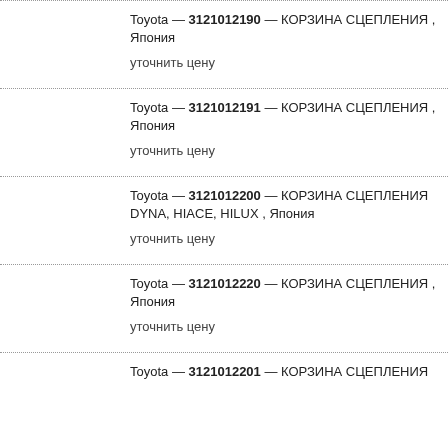Toyota — 3121012190 — КОРЗИНА СЦЕПЛЕНИЯ , Япония
уточнить цену
Toyota — 3121012191 — КОРЗИНА СЦЕПЛЕНИЯ , Япония
уточнить цену
Toyota — 3121012200 — КОРЗИНА СЦЕПЛЕНИЯ DYNA, HIACE, HILUX , Япония
уточнить цену
Toyota — 3121012220 — КОРЗИНА СЦЕПЛЕНИЯ , Япония
уточнить цену
Toyota — 3121012201 — КОРЗИНА СЦЕПЛЕНИЯ